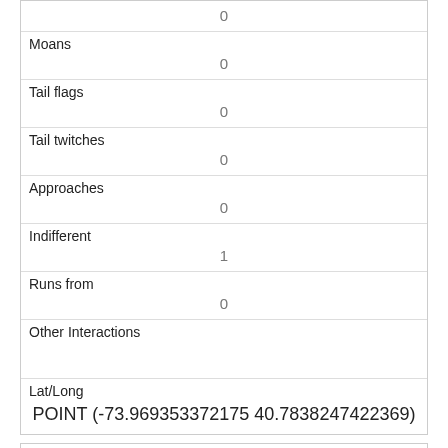| 0 |
| Moans | 0 |
| Tail flags | 0 |
| Tail twitches | 0 |
| Approaches | 0 |
| Indifferent | 1 |
| Runs from | 0 |
| Other Interactions |  |
| Lat/Long | POINT (-73.969353372175 40.7838247422369) |
| Link | 701 |
| rowid |  |